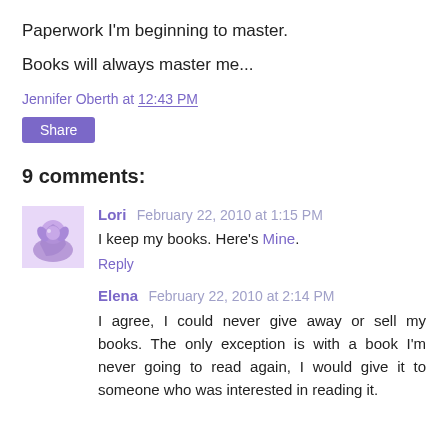Paperwork I'm beginning to master.
Books will always master me...
Jennifer Oberth at 12:43 PM
Share
9 comments:
Lori February 22, 2010 at 1:15 PM
I keep my books. Here's Mine.
Reply
Elena February 22, 2010 at 2:14 PM
I agree, I could never give away or sell my books. The only exception is with a book I'm never going to read again, I would give it to someone who was interested in reading it.